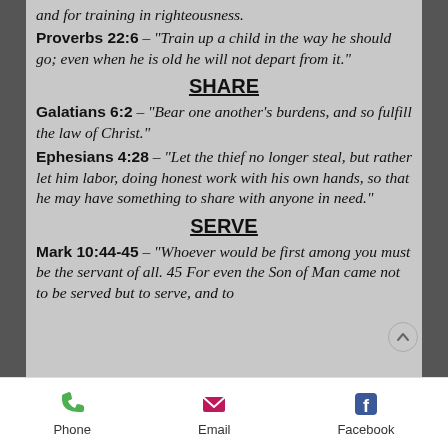and for training in righteousness.
Proverbs 22:6 – "Train up a child in the way he should go; even when he is old he will not depart from it."
SHARE
Galatians 6:2 – "Bear one another's burdens, and so fulfill the law of Christ."
Ephesians 4:28 – "Let the thief no longer steal, but rather let him labor, doing honest work with his own hands, so that he may have something to share with anyone in need."
SERVE
Mark 10:44-45 – "Whoever would be first among you must be the servant of all. 45 For even the Son of Man came not to be served but to serve, and to
Phone   Email   Facebook